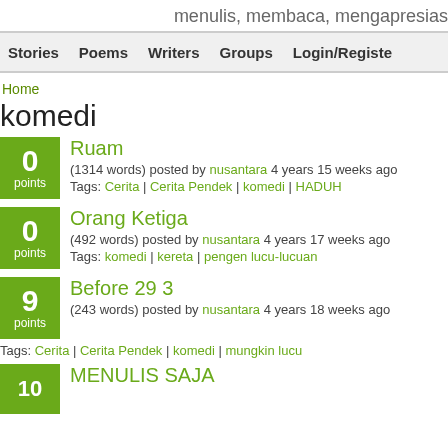menulis, membaca, mengapresias
Stories | Poems | Writers | Groups | Login/Register
Home
komedi
Ruam
(1314 words) posted by nusantara 4 years 15 weeks ago
Tags: Cerita | Cerita Pendek | komedi | HADUH
Orang Ketiga
(492 words) posted by nusantara 4 years 17 weeks ago
Tags: komedi | kereta | pengen lucu-lucuan
Before 29 3
(243 words) posted by nusantara 4 years 18 weeks ago
Tags: Cerita | Cerita Pendek | komedi | mungkin lucu
MENULIS SAJA